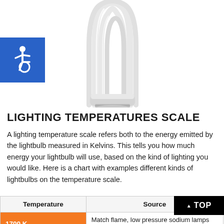[Figure (photo): A CFL (compact fluorescent lamp) lightbulb photographed against a white background, showing the spiral/flame tube design at top and metal Edison screw base at bottom.]
[Figure (logo): Blue square with white International Symbol of Access (wheelchair accessibility icon).]
LIGHTING TEMPERATURES SCALE
A lighting temperature scale refers both to the energy emitted by the lightbulb measured in Kelvins. This tells you how much energy your lightbulb will use, based on the kind of lighting you would like. Here is a chart with examples different kinds of lightbulbs on the temperature scale.
| Temperature | Source |
| --- | --- |
| 1700 K | Match flame, low pressure sodium lamps (L… |
| 1850 K | Candle flame, sunset/sunrise |
[Figure (other): Black button with white text reading '▲ TOP']